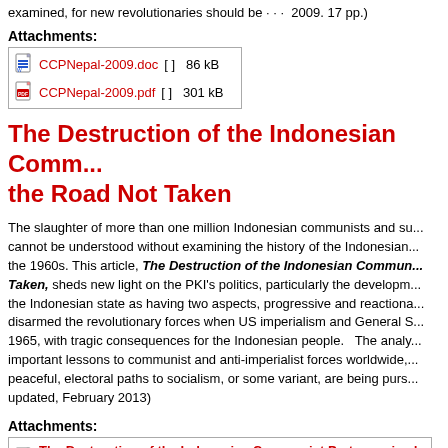examined, for new revolutionaries should be...  2009. 17 pp.)
Attachments:
| CCPNepal-2009.doc  [ ]  86 kB |
| CCPNepal-2009.pdf  [ ]  301 kB |
The Destruction of the Indonesian Communist Party - the Road Not Taken
The slaughter of more than one million Indonesian communists and supporters cannot be understood without examining the history of the Indonesian communist party in the 1960s. This article, The Destruction of the Indonesian Communist Party - the Road Not Taken, sheds new light on the PKI's politics, particularly the development of a line treating the Indonesian state as having two aspects, progressive and reactionary, a line that disarmed the revolutionary forces when US imperialism and General Suharto struck in 1965, with tragic consequences for the Indonesian people. The analysis provides important lessons to communist and anti-imperialist forces worldwide, wherever peaceful, electoral paths to socialism, or some variant, are being pursued. (revised and updated, February 2013)
Attachments:
The Destruction of the Indonesian Communist Party - revised 2013.d...